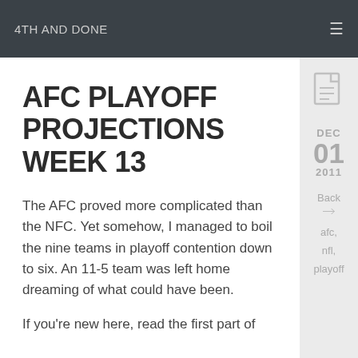4TH AND DONE
AFC PLAYOFF PROJECTIONS WEEK 13
The AFC proved more complicated than the NFC. Yet somehow, I managed to boil the nine teams in playoff contention down to six. An 11-5 team was left home dreaming of what could have been.
If you're new here, read the first part of
[Figure (illustration): Document/page icon in light gray]
DEC
01
2011
Back
afc,
nfl,
playoff